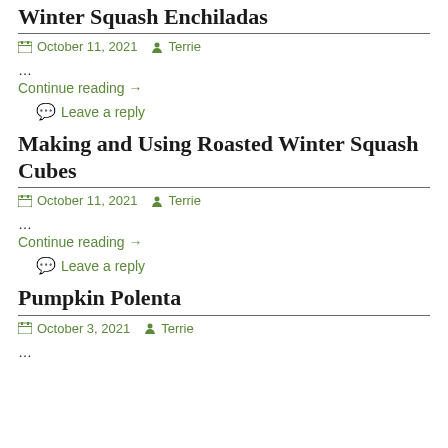Winter Squash Enchiladas
October 11, 2021  Terrie
...
Continue reading →
Leave a reply
Making and Using Roasted Winter Squash Cubes
October 11, 2021  Terrie
...
Continue reading →
Leave a reply
Pumpkin Polenta
October 3, 2021  Terrie
...